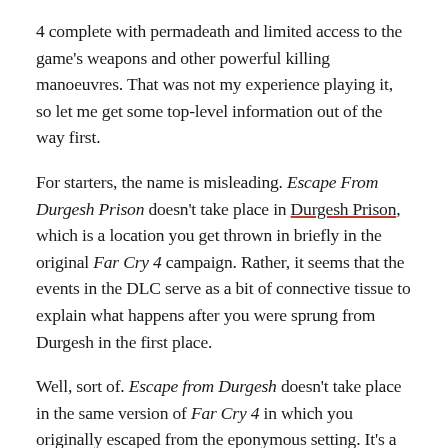4 complete with permadeath and limited access to the game's weapons and other powerful killing manoeuvres. That was not my experience playing it, so let me get some top-level information out of the way first.
For starters, the name is misleading. Escape From Durgesh Prison doesn't take place in Durgesh Prison, which is a location you get thrown in briefly in the original Far Cry 4 campaign. Rather, it seems that the events in the DLC serve as a bit of connective tissue to explain what happens after you were sprung from Durgesh in the first place.
Well, sort of. Escape from Durgesh doesn't take place in the same version of Far Cry 4 in which you originally escaped from the eponymous setting. It's a self-contained gameplay mode that you access by switching over to the multiplayer side of things in the main menu. See here: